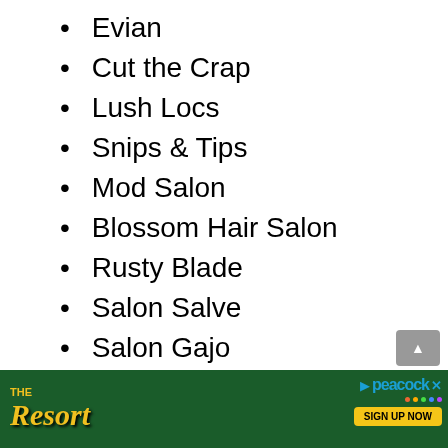Evian
Cut the Crap
Lush Locs
Snips & Tips
Mod Salon
Blossom Hair Salon
Rusty Blade
Salon Salve
Salon Gajo
Marvel Beauty
M... & M...
[Figure (other): Advertisement banner for 'The Resort' on Peacock streaming service with sign up now button]